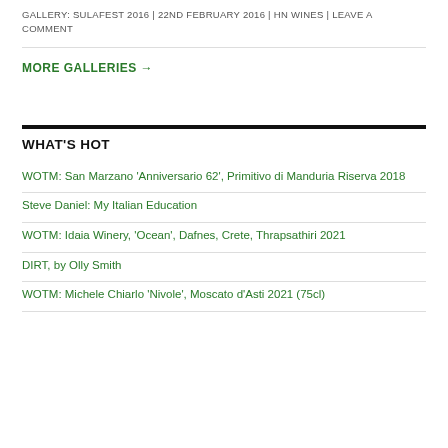GALLERY: SULAFEST 2016 | 22ND FEBRUARY 2016 | HN WINES | LEAVE A COMMENT
MORE GALLERIES →
WHAT'S HOT
WOTM: San Marzano 'Anniversario 62', Primitivo di Manduria Riserva 2018
Steve Daniel: My Italian Education
WOTM: Idaia Winery, 'Ocean', Dafnes, Crete, Thrapsathiri 2021
DIRT, by Olly Smith
WOTM: Michele Chiarlo 'Nivole', Moscato d'Asti 2021 (75cl)